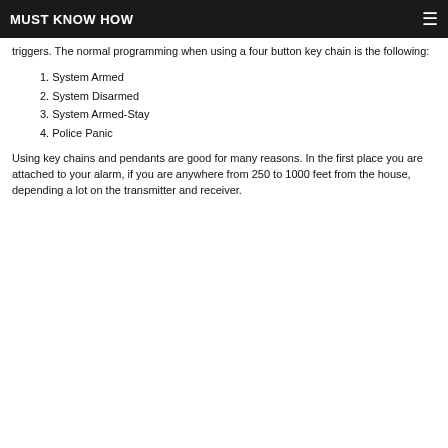MUST KNOW HOW
triggers. The normal programming when using a four button key chain is the following:
1. System Armed
2. System Disarmed
3. System Armed-Stay
4. Police Panic
Using key chains and pendants are good for many reasons. In the first place you are attached to your alarm, if you are anywhere from 250 to 1000 feet from the house, depending a lot on the transmitter and receiver.